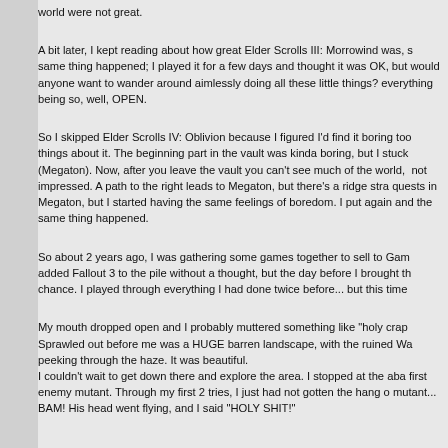world were not great.
A bit later, I kept reading about how great Elder Scrolls III: Morrowind was, same thing happened; I played it for a few days and thought it was OK, but would anyone want to wander around aimlessly doing all these little things? everything being so, well, OPEN.
So I skipped Elder Scrolls IV: Oblivion because I figured I'd find it boring too things about it. The beginning part in the vault was kinda boring, but I stuck (Megaton). Now, after you leave the vault you can't see much of the world, not impressed. A path to the right leads to Megaton, but there's a ridge stra quests in Megaton, but I started having the same feelings of boredom. I put again and the same thing happened.
So about 2 years ago, I was gathering some games together to sell to Gam added Fallout 3 to the pile without a thought, but the day before I brought th chance. I played through everything I had done twice before... but this time
My mouth dropped open and I probably muttered something like "holy crap Sprawled out before me was a HUGE barren landscape, with the ruined Wa peeking through the haze. It was beautiful.
I couldn't wait to get down there and explore the area. I stopped at the aba first enemy mutant. Through my first 2 tries, I just had not gotten the hang o mutant...
BAM! His head went flying, and I said "HOLY SHIT!"